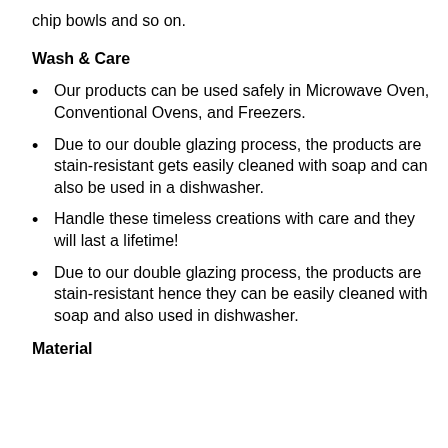chip bowls and so on.
Wash & Care
Our products can be used safely in Microwave Oven, Conventional Ovens, and Freezers.
Due to our double glazing process, the products are stain-resistant gets easily cleaned with soap and can also be used in a dishwasher.
Handle these timeless creations with care and they will last a lifetime!
Due to our double glazing process, the products are stain-resistant hence they can be easily cleaned with soap and also used in dishwasher.
Material